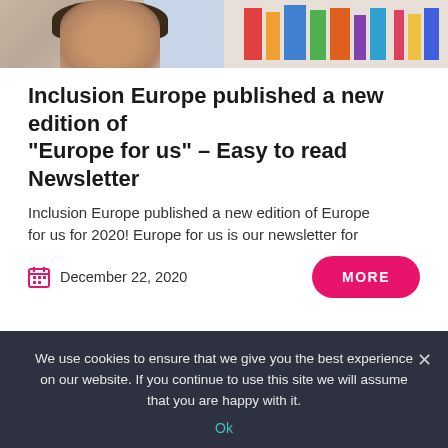[Figure (photo): Two cropped images side by side: left shows a person with dark hair in front of a light background; right shows a row of colorful books on a shelf.]
Inclusion Europe published a new edition of “Europe for us” – Easy to read Newsletter
Inclusion Europe published a new edition of Europe for us for 2020! Europe for us is our newsletter for
December 22, 2020
MORE
PAGE 1 OF 4
NEXT ›
We use cookies to ensure that we give you the best experience on our website. If you continue to use this site we will assume that you are happy with it.
Ok